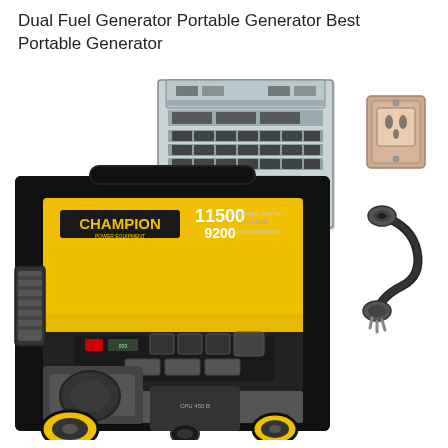Dual Fuel Generator Portable Generator Best Portable Generator
[Figure (photo): Product photo showing a Champion 11500 starting watts / 9200 running watts portable generator (yellow and black) in the foreground, a transfer switch panel (gray, open, showing circuit breakers) in the upper center, a brown/pink outdoor electrical outlet box upper right, and a heavy-duty power cord with twist-lock plugs on the right side.]